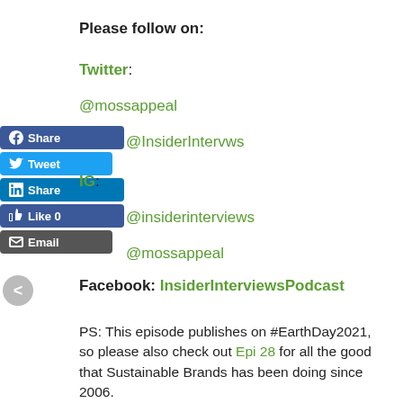Please follow on:
Twitter: @mossappeal
@InsiderIntervws
IG:
@insiderinterviews
@mossappeal
Facebook: InsiderInterviewsPodcast
PS: This episode publishes on #EarthDay2021, so please also check out Epi 28 for all the good that Sustainable Brands has been doing since 2006.